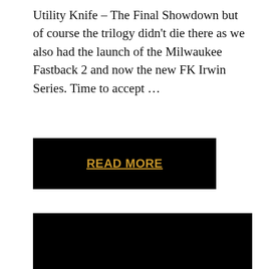Utility Knife – The Final Showdown but of course the trilogy didn't die there as we also had the launch of the Milwaukee Fastback 2 and now the new FK Irwin Series. Time to accept …
READ MORE
IRWIN VISE-GRIP VS CH HANSON AUTOMATIC 10" LOCKING PLIERS
3.28.2011
From time to time here at Coptool World Headquarter we receive some interesting marketing